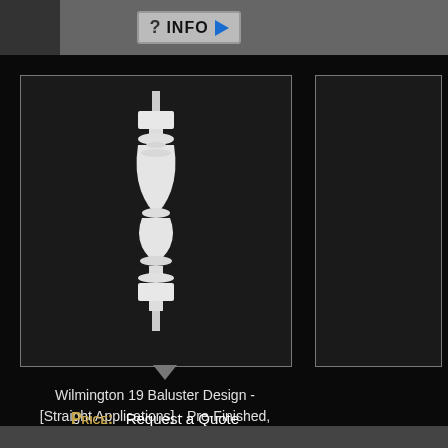[Figure (screenshot): Info button with question mark and blue play arrow on gray background]
[Figure (photo): White baluster spindle (Wilmington 19 design) on black background with border]
Wilmington 19 Baluster Design - [Straight Applications] - Pre-Finished, Textured / Colored - [Classic Stone Material]
PRICE:  Request a Quote
[Figure (photo): Partial second product image on right side (Wilmington variant)]
Wilmington [Straight 8] - Finished, T
PRICE